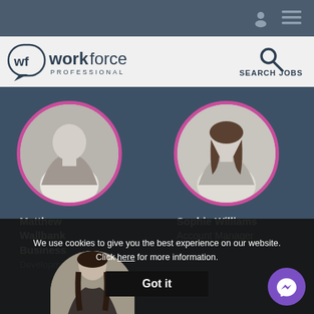Navigation bar with user icon and menu icon
[Figure (logo): Workforce Professional logo with wf speech bubble icon and search jobs button]
[Figure (photo): Matthew Wallbank profile photo in circular frame with pink border]
Matthew Wallbank
Business Development
[Figure (photo): Sophie Williams profile photo in circular frame with pink border]
Sophie Williams
Account Manager
We use cookies to give you the best experience on our website. Click here for more information.
Got it
[Figure (other): Facebook Messenger chat bubble icon in purple circle]